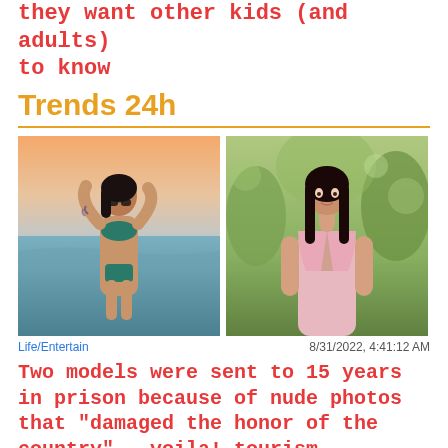they want other kids (and adults) to know
Trends 24h
[Figure (photo): Two photos side by side: left photo shows a woman in a teal bikini at the beach at sunset; right photo shows a woman in a pink open knit top outdoors.]
Life/Entertain    8/31/2022, 4:41:12 AM
Two models were sent to 15 years in prison because of nude photos that "damaged the honor of the country" - voila! tourism